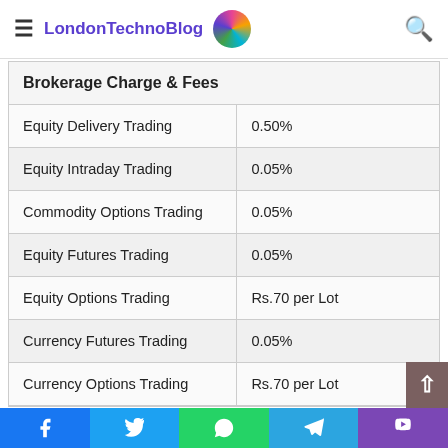Motilal Oswal Brokerage
LondonTechnoBlog
| Brokerage Charge & Fees |  |
| --- | --- |
| Equity Delivery Trading | 0.50% |
| Equity Intraday Trading | 0.05% |
| Commodity Options Trading | 0.05% |
| Equity Futures Trading | 0.05% |
| Equity Options Trading | Rs.70 per Lot |
| Currency Futures Trading | 0.05% |
| Currency Options Trading | Rs.70 per Lot |